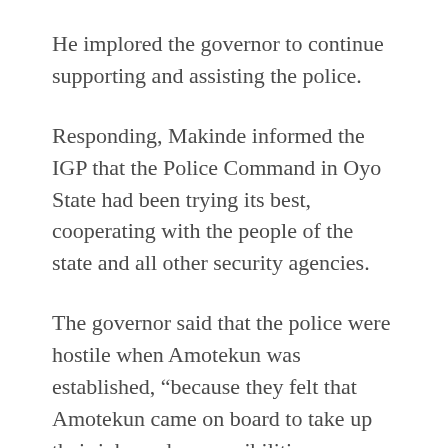He implored the governor to continue supporting and assisting the police.
Responding, Makinde informed the IGP that the Police Command in Oyo State had been trying its best, cooperating with the people of the state and all other security agencies.
The governor said that the police were hostile when Amotekun was established, “because they felt that Amotekun came on board to take up their jobs and responsibilities.
“But over these few months, with the leadership